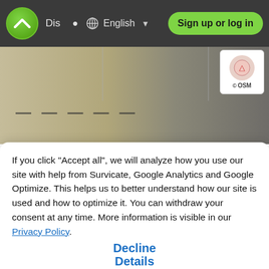[Figure (screenshot): Website navigation bar with logo, Dis label, globe icon with English language selector and dropdown arrow, and green Sign up or log in button]
[Figure (screenshot): Website content area showing a landscape image and OSM (OpenStreetMap) badge in top right corner, with partially visible bold title text below]
If you click "Accept all", we will analyze how you use our site with help from Survicate, Google Analytics and Google Optimize. This helps us to better understand how our site is used and how to optimize it. You can withdraw your consent at any time. More information is visible in our Privacy Policy.
Accept All
Decline
Details